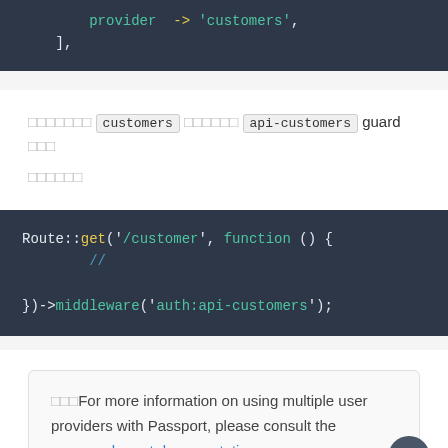code block top: provider -> 'customers', ],
xxxxxxx customers xxxxxx api-customers guard xxx xxxxxxx
Route::get('/customer', function () { // })->middleware('auth:api-customers');
xxxFor more information on using multiple user providers with Passport, please consult the password grant documentation.